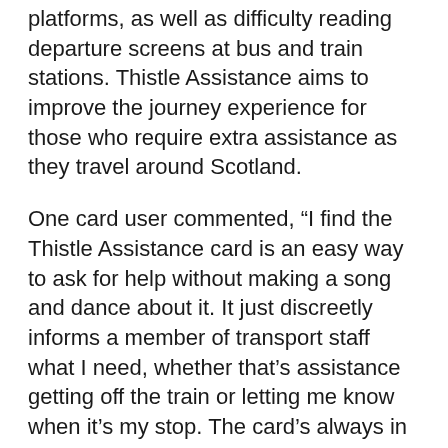platforms, as well as difficulty reading departure screens at bus and train stations. Thistle Assistance aims to improve the journey experience for those who require extra assistance as they travel around Scotland.
One card user commented, “I find the Thistle Assistance card is an easy way to ask for help without making a song and dance about it. It just discreetly informs a member of transport staff what I need, whether that’s assistance getting off the train or letting me know when it’s my stop. The card’s always in my wallet now so it gives me peace of mind when I travel.”
Thistle Assistance’s brand-new website (www.thistleassistance.com) is complemented by dedicated social media